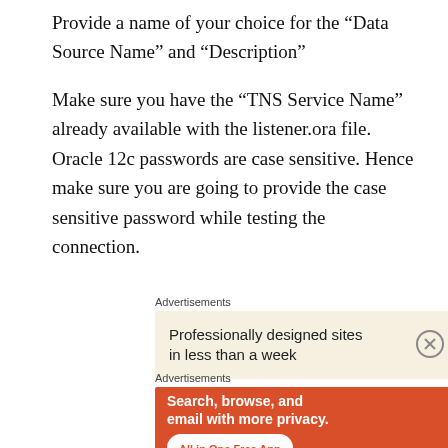Provide a name of your choice for the “Data Source Name” and “Description”
Make sure you have the “TNS Service Name” already available with the listener.ora file. Oracle 12c passwords are case sensitive. Hence make sure you are going to provide the case sensitive password while testing the connection.
Advertisements
[Figure (other): WordPress advertisement banner: 'Professionally designed sites in less than a week' with WordPress logo]
Advertisements
[Figure (other): DuckDuckGo advertisement banner: 'Search, browse, and email with more privacy. All in One Free App' with DuckDuckGo logo and phone image]